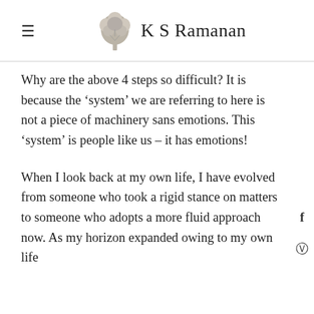K S Ramanan
Why are the above 4 steps so difficult? It is because the ‘system’ we are referring to here is not a piece of machinery sans emotions. This ‘system’ is people like us – it has emotions!
When I look back at my own life, I have evolved from someone who took a rigid stance on matters to someone who adopts a more fluid approach now. As my horizon expanded owing to my own life